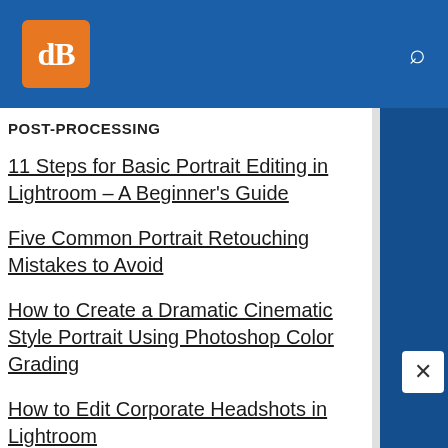dB logo and search icon on blue header
POST-PROCESSING
11 Steps for Basic Portrait Editing in Lightroom – A Beginner's Guide
Five Common Portrait Retouching Mistakes to Avoid
How to Create a Dramatic Cinematic Style Portrait Using Photoshop Color Grading
How to Edit Corporate Headshots in Lightroom
How to Create a Dark and Moody Rembrandt-Style Portrait in...